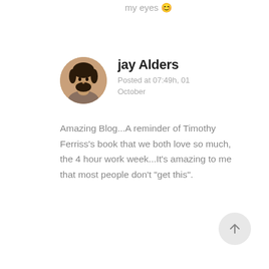my eyes 😊
[Figure (photo): Circular avatar photo of Jay Alders, a man with dark hair and beard]
jay Alders
Posted at 07:49h, 01 October
Amazing Blog...A reminder of Timothy Ferriss's book that we both love so much, the 4 hour work week...It's amazing to me that most people don't "get this".